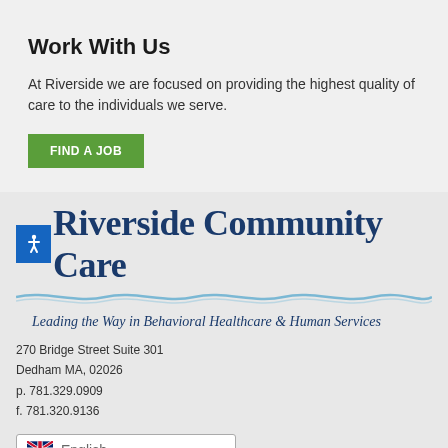Work With Us
At Riverside we are focused on providing the highest quality of care to the individuals we serve.
[Figure (other): Green button labeled FIND A JOB]
[Figure (logo): Riverside Community Care logo with accessibility icon, wave graphic, and tagline 'Leading the Way in Behavioral Healthcare & Human Services']
270 Bridge Street Suite 301
Dedham MA, 02026
p. 781.329.0909
f. 781.320.9136
[Figure (other): Language selector dropdown showing UK flag and English text]